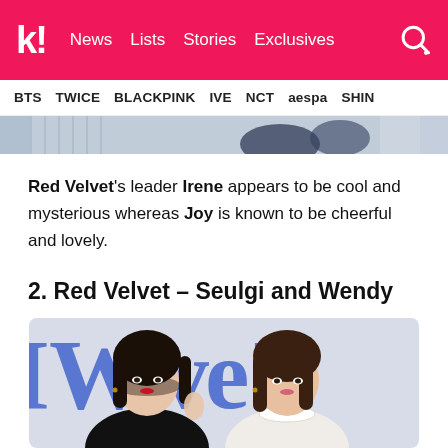k! News Lists Stories Exclusives
BTS TWICE BLACKPINK IVE NCT aespa SHIN
[Figure (photo): Partial image strip at top of page, appears to show clothing/magazine spread with blue tones]
Red Velvet's leader Irene appears to be cool and mysterious whereas Joy is known to be cheerful and lovely.
2. Red Velvet – Seulgi and Wendy
[Figure (photo): Photo of two young women (Seulgi and Wendy from Red Velvet) standing in front of a backdrop with large blue letters reading 'Wave!'. Left person wears black outfit with red lips and long dark hair; right person wears white outfit with long wavy brown hair.]